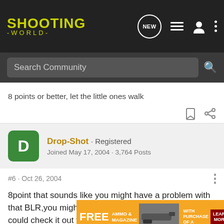SHOOTING WORLD
Search Community
8 points or better, let the little ones walk
Drop-Shot · Registered
Joined May 17, 2004 · 3,764 Posts
#6 · Oct 26, 2004
8point that sounds like you might have a problem with that BLR,you might as well send it to me so you know,I could check it out for ... 270 any mo... ears.Ive